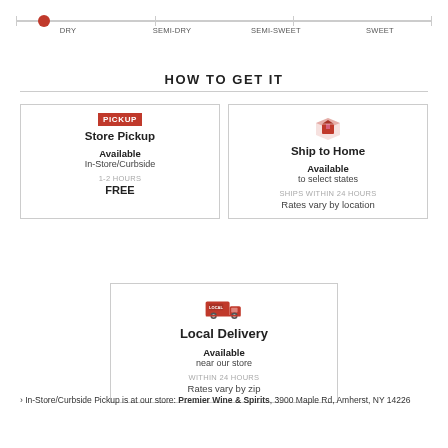[Figure (infographic): Sweetness scale showing DRY, SEMI-DRY, SEMI-SWEET, SWEET with a red dot at DRY end]
HOW TO GET IT
[Figure (infographic): Store Pickup card with PICKUP badge icon, Available In-Store/Curbside, 1-2 HOURS, FREE]
[Figure (infographic): Ship to Home card with package icon, Available to select states, SHIPS WITHIN 24 HOURS, Rates vary by location]
[Figure (infographic): Local Delivery card with LOCAL delivery truck icon, Available near our store, WITHIN 24 HOURS, Rates vary by zip]
› In-Store/Curbside Pickup is at our store: Premier Wine & Spirits, 3900 Maple Rd, Amherst, NY 14226